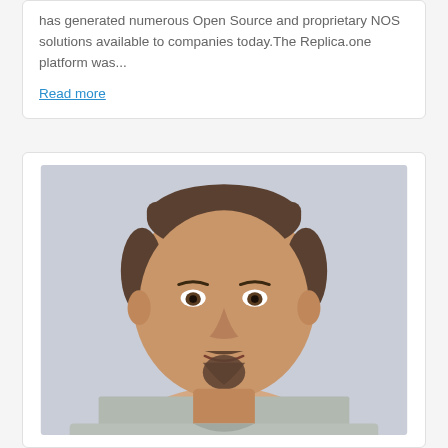has generated numerous Open Source and proprietary NOS solutions available to companies today. The Replica.one platform was...
Read more
[Figure (photo): Headshot portrait of a heavyset man with a goatee, short dark hair, wearing a light grey t-shirt, photographed against a light grey background.]